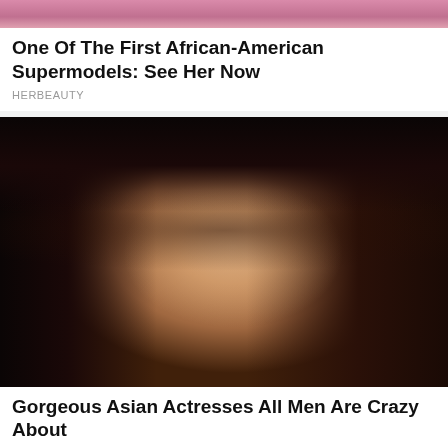[Figure (photo): Cropped top portion of a photo showing a person in pink/mauve clothing, partially visible at top of page]
One Of The First African-American Supermodels: See Her Now
HERBEAUTY
[Figure (photo): Portrait photo of a woman with long dark hair and blue/grey eyes, wearing makeup, against a warm background]
Gorgeous Asian Actresses All Men Are Crazy About
BRAINBERRIES
[Figure (photo): Partial photo at bottom showing a person with dark hair, partially cropped]